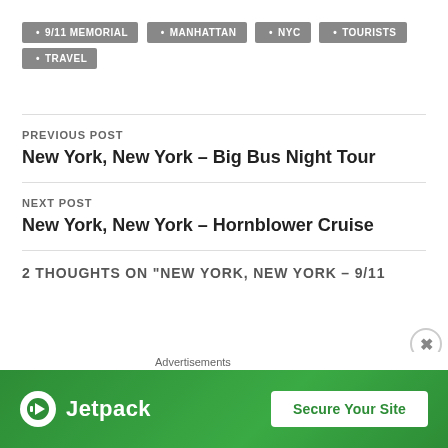9/11 MEMORIAL
MANHATTAN
NYC
TOURISTS
TRAVEL
PREVIOUS POST
New York, New York – Big Bus Night Tour
NEXT POST
New York, New York – Hornblower Cruise
2 THOUGHTS ON "NEW YORK, NEW YORK – 9/11
Advertisements
[Figure (infographic): Jetpack advertisement banner with green background showing Jetpack logo and 'Secure Your Site' button]